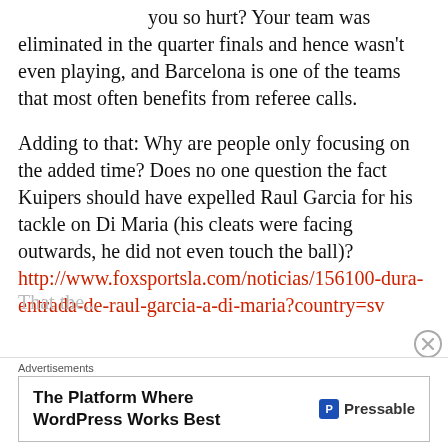you so hurt? Your team was eliminated in the quarter finals and hence wasn't even playing, and Barcelona is one of the teams that most often benefits from referee calls.
Adding to that: Why are people only focusing on the added time? Does no one question the fact Kuipers should have expelled Raul Garcia for his tackle on Di Maria (his cleats were facing outwards, he did not even touch the ball)? http://www.foxsportsla.com/noticias/156100-dura-entrada-de-raul-garcia-a-di-maria?country=sv
That the...
Advertisements
The Platform Where WordPress Works Best  Pressable